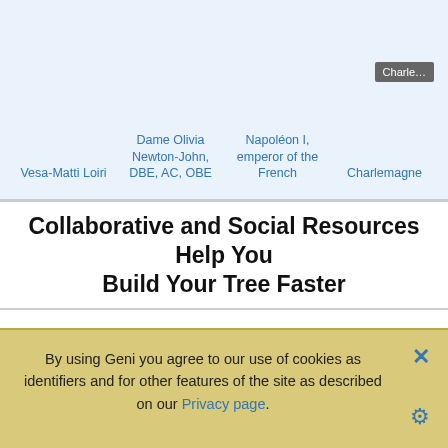[Figure (screenshot): Blue background section showing thumbnail placeholder for Charlemagne and four person name links: Vesa-Matti Loiri, Dame Olivia Newton-John DBE AC OBE, Napoléon I emperor of the French, Charlemagne]
Collaborative and Social Resources Help You Build Your Tree Faster
Genealogy Discussions
Geni users are very active in discussions, where topics range
Genealogy Projects
Our Projects feature provides a workspace for genealogists with similar interests to collaborate.
By using Geni you agree to our use of cookies as identifiers and for other features of the site as described on our Privacy page.